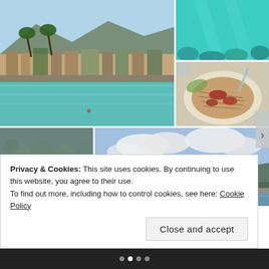[Figure (photo): Hawaiian waterfront with clear turquoise water, palm trees, buildings along the shore, and mountains in background]
[Figure (photo): Underwater ocean scene with light blue-green water and coral reef visible below]
[Figure (photo): Close-up of a food dish, appears to be noodles or pulled meat with red sauce on a plate]
[Figure (photo): Underwater coral reef scene with various corals visible]
[Figure (photo): Scenic mountain/coastal landscape with blue sky, white clouds, and ocean below]
[Figure (photo): Group of people indoors, warm lighting, restaurant or bar setting]
Privacy & Cookies: This site uses cookies. By continuing to use this website, you agree to their use.
To find out more, including how to control cookies, see here: Cookie Policy
Close and accept